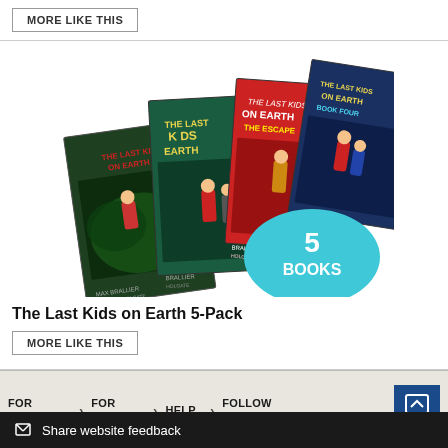MORE LIKE THIS
[Figure (photo): Stack of 4 books from 'The Last Kids on Earth' series fanned out, with a teal circle badge showing '5 BOOKS']
The Last Kids on Earth 5-Pack
MORE LIKE THIS
FOR TEACHERS > FOR PARENTS > HELP > FOLLOW US TOP
Share website feedback